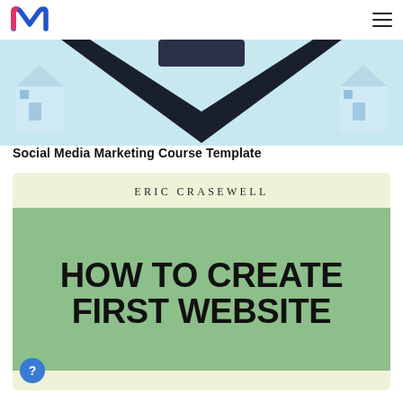modif.ai navigation header with logo and menu
[Figure (illustration): Partial view of a social media marketing course template thumbnail showing a dark chevron/arrow shape on a light blue background with small house icons, watermarked 'modif.ai']
Social Media Marketing Course Template
[Figure (illustration): Book cover design on cream/light yellow background. Top reads 'ERIC CRASEWELL' in spaced serif letters. Lower half has green background with bold black text 'HOW TO CREATE FIRST WEBSITE']